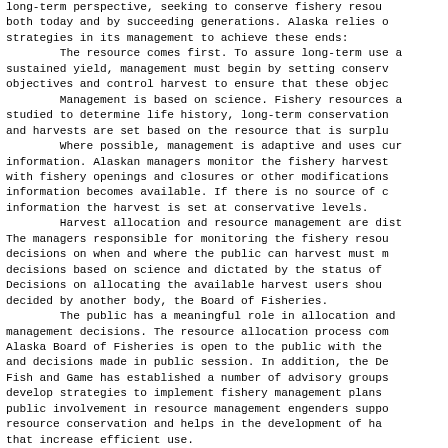long-term perspective, seeking to conserve fishery resou both today and by succeeding generations. Alaska relies o strategies in its management to achieve these ends:
        The resource comes first. To assure long-term use a sustained yield, management must begin by setting conserv objectives and control harvest to ensure that these objec
        Management is based on science. Fishery resources a studied to determine life history, long-term conservation and harvests are set based on the resource that is surplu
        Where possible, management is adaptive and uses cur information. Alaskan managers monitor the fishery harvest with fishery openings and closures or other modifications information becomes available. If there is no source of c information the harvest is set at conservative levels.
        Harvest allocation and resource management are dist The managers responsible for monitoring the fishery resou decisions on when and where the public can harvest must m decisions based on science and dictated by the status of Decisions on allocating the available harvest users shou decided by another body, the Board of Fisheries.
        The public has a meaningful role in allocation and management decisions. The resource allocation process com Alaska Board of Fisheries is open to the public with the and decisions made in public session. In addition, the De Fish and Game has established a number of advisory groups develop strategies to implement fishery management plans public involvement in resource management engenders suppo resource conservation and helps in the development of ha that increase efficient use.
    The management of federal waters fisheries is paralle regards. Harvests are established based on the best avai